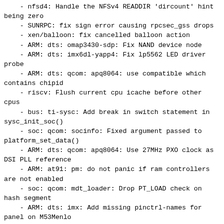- nfsd4: Handle the NFSv4 READDIR 'dircount' hint being zero
- SUNRPC: fix sign error causing rpcsec_gss drops
- xen/balloon: fix cancelled balloon action
- ARM: dts: omap3430-sdp: Fix NAND device node
- ARM: dts: imx6dl-yapp4: Fix lp5562 LED driver probe
- ARM: dts: qcom: apq8064: use compatible which contains chipid
- riscv: Flush current cpu icache before other cpus
- bus: ti-sysc: Add break in switch statement in sysc_init_soc()
- soc: qcom: socinfo: Fixed argument passed to platform_set_data()
- ARM: dts: qcom: apq8064: Use 27MHz PXO clock as DSI PLL reference
- ARM: at91: pm: do not panic if ram controllers are not enabled
- soc: qcom: mdt_loader: Drop PT_LOAD check on hash segment
- ARM: dts: imx: Add missing pinctrl-names for panel on M53Menlo
- ARM: dts: imx: Fix USB host power regulator polarity on M53Menlo
- ARM: dts: imx6qdl-pico: Fix Ethernet support
- PCI: hv: Fix sleep while in non-sleep context when removing child devices
        from the bus
- ath5k: fix building with LEDS=m
- arm64: dts: qcom: pm8150: use qcom,pm8998-pon